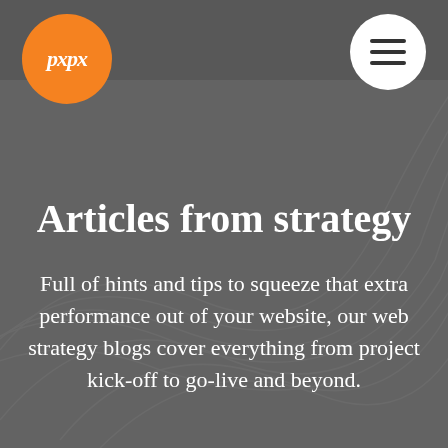[Figure (logo): Orange circle logo with italic white text 'pxpx']
[Figure (other): White circle menu/hamburger button with three horizontal bars]
Articles from strategy
Full of hints and tips to squeeze that extra performance out of your website, our web strategy blogs cover everything from project kick-off to go-live and beyond.